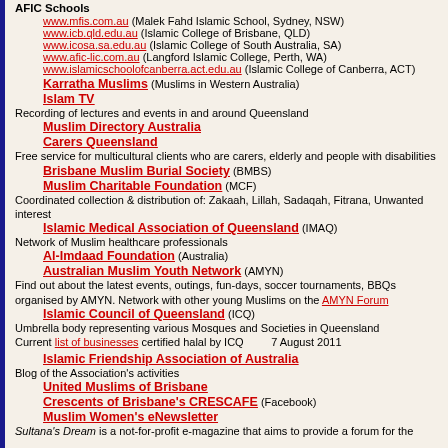AFIC Schools
www.mfis.com.au (Malek Fahd Islamic School, Sydney, NSW)
www.icb.qld.edu.au (Islamic College of Brisbane, QLD)
www.icosa.sa.edu.au (Islamic College of South Australia, SA)
www.afic-lic.com.au (Langford Islamic College, Perth, WA)
www.islamicschoolofcanberra.act.edu.au (Islamic College of Canberra, ACT)
Karratha Muslims (Muslims in Western Australia)
Islam TV
Recording of lectures and events in and around Queensland
Muslim Directory Australia
Carers Queensland
Free service for multicultural clients who are carers, elderly and people with disabilities
Brisbane Muslim Burial Society (BMBS)
Muslim Charitable Foundation (MCF)
Coordinated collection & distribution of: Zakaah, Lillah, Sadaqah, Fitrana, Unwanted interest
Islamic Medical Association of Queensland (IMAQ)
Network of Muslim healthcare professionals
Al-Imdaad Foundation (Australia)
Australian Muslim Youth Network (AMYN)
Find out about the latest events, outings, fun-days, soccer tournaments, BBQs organised by AMYN. Network with other young Muslims on the AMYN Forum
Islamic Council of Queensland (ICQ)
Umbrella body representing various Mosques and Societies in Queensland
Current list of businesses certified halal by ICQ     7 August 2011
Islamic Friendship Association of Australia
Blog of the Association's activities
United Muslims of Brisbane
Crescents of Brisbane's CRESCAFE (Facebook)
Muslim Women's eNewsletter
Sultana's Dream is a not-for-profit e-magazine that aims to provide a forum for the voices of Australian Muslims